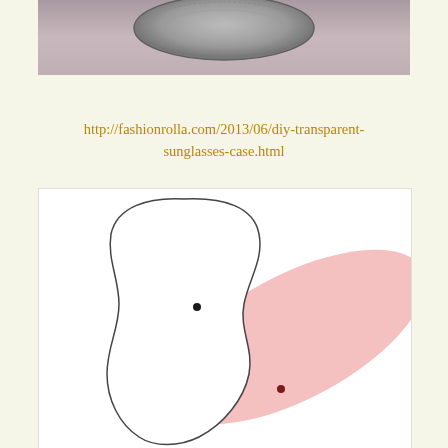[Figure (photo): Top portion of a photo showing what appears to be a circular/oval metallic object, likely a coin or decorative plate, against a pinkish-gray background]
http://fashionrolla.com/2013/06/diy-transparent-sunglasses-case.html
[Figure (illustration): DIY sunglasses case pattern diagram showing two overlapping pattern pieces: a white rounded outline shape (main body piece) with a black dot marker, and a pink/rose colored elongated oval strap piece with a dark red dot marker, shown overlapping diagonally]